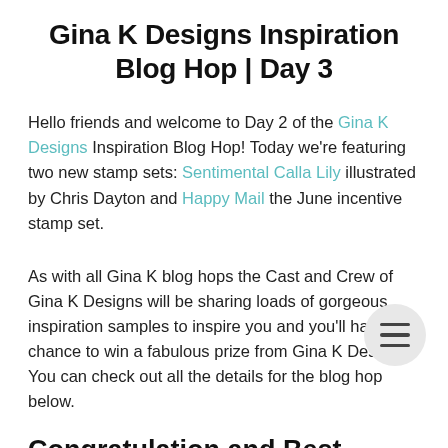Gina K Designs Inspiration Blog Hop | Day 3
Hello friends and welcome to Day 2 of the Gina K Designs Inspiration Blog Hop! Today we're featuring two new stamp sets: Sentimental Calla Lily illustrated by Chris Dayton and Happy Mail the June incentive stamp set.
As with all Gina K blog hops the Cast and Crew of Gina K Designs will be sharing loads of gorgeous inspiration samples to inspire you and you'll have the chance to win a fabulous prize from Gina K Designs. You can check out all the details for the blog hop below.
Congratulation and Best Wishes